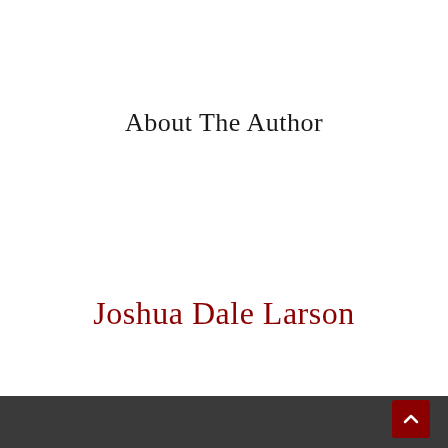About The Author
Joshua Dale Larson